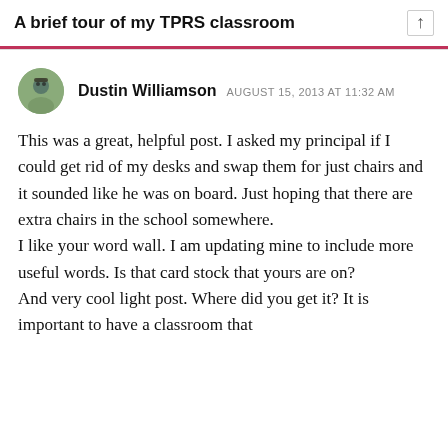A brief tour of my TPRS classroom
Dustin Williamson  AUGUST 15, 2013 AT 11:32 AM
This was a great, helpful post. I asked my principal if I could get rid of my desks and swap them for just chairs and it sounded like he was on board. Just hoping that there are extra chairs in the school somewhere.
I like your word wall. I am updating mine to include more useful words. Is that card stock that yours are on?
And very cool light post. Where did you get it? It is important to have a classroom that